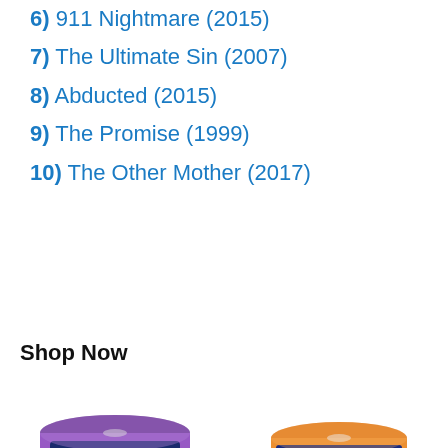6) 911 Nightmare (2015)
7) The Ultimate Sin (2007)
8) Abducted (2015)
9) The Promise (1999)
10) The Other Mother (2017)
Shop Now
[Figure (photo): Verbatim DVD+R 4.7GB 16x AZO spindle of 100 discs]
Verbatim DVD+R 4.7GB 16x AZO Recorda...
$24.99  $36.00  prime  (7425)
[Figure (photo): Verbatim DVD-R Blank Discs AZO Dye 4.7 spindle of 50 discs]
Verbatim DVD-R Blank Discs AZO Dye 4.7...
$14.95  $24.99  prime  (14927)